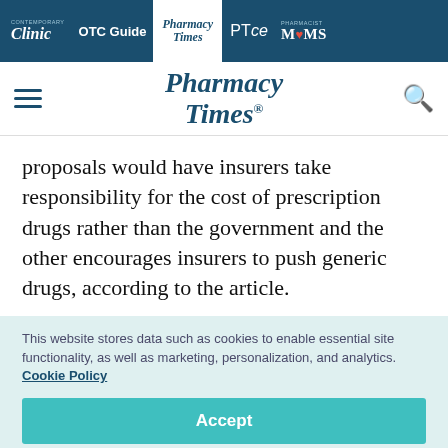Clinic | OTC Guide | Pharmacy Times | PTce | PHARMACIST MOMS
Pharmacy Times
proposals would have insurers take responsibility for the cost of prescription drugs rather than the government and the other encourages insurers to push generic drugs, according to the article.
This website stores data such as cookies to enable essential site functionality, as well as marketing, personalization, and analytics. Cookie Policy
Accept
Deny